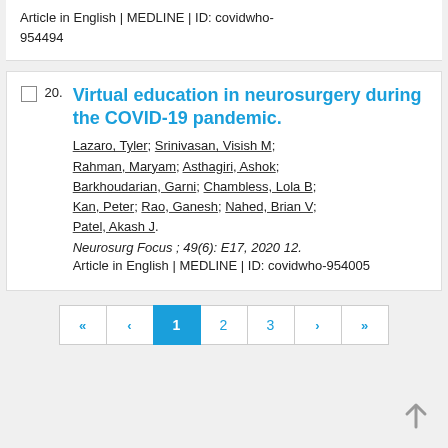Article in English | MEDLINE | ID: covidwho-954494
Virtual education in neurosurgery during the COVID-19 pandemic.
Lazaro, Tyler; Srinivasan, Visish M; Rahman, Maryam; Asthagiri, Ashok; Barkhoudarian, Garni; Chambless, Lola B; Kan, Peter; Rao, Ganesh; Nahed, Brian V; Patel, Akash J.
Neurosurg Focus ; 49(6): E17, 2020 12.
Article in English | MEDLINE | ID: covidwho-954005
« ‹ 1 2 3 › »